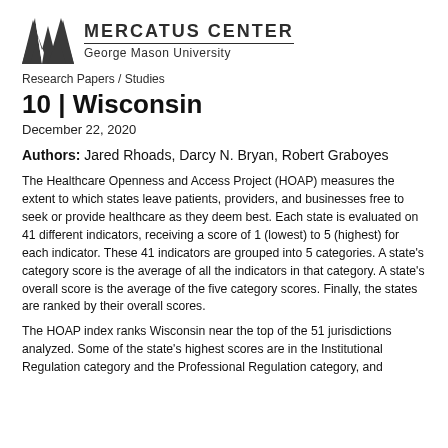[Figure (logo): Mercatus Center at George Mason University logo with geometric M icon]
Research Papers / Studies
10 | Wisconsin
December 22, 2020
Authors: Jared Rhoads, Darcy N. Bryan, Robert Graboyes
The Healthcare Openness and Access Project (HOAP) measures the extent to which states leave patients, providers, and businesses free to seek or provide healthcare as they deem best. Each state is evaluated on 41 different indicators, receiving a score of 1 (lowest) to 5 (highest) for each indicator. These 41 indicators are grouped into 5 categories. A state's category score is the average of all the indicators in that category. A state's overall score is the average of the five category scores. Finally, the states are ranked by their overall scores.
The HOAP index ranks Wisconsin near the top of the 51 jurisdictions analyzed. Some of the state's highest scores are in the Institutional Regulation category and the Professional Regulation category, and